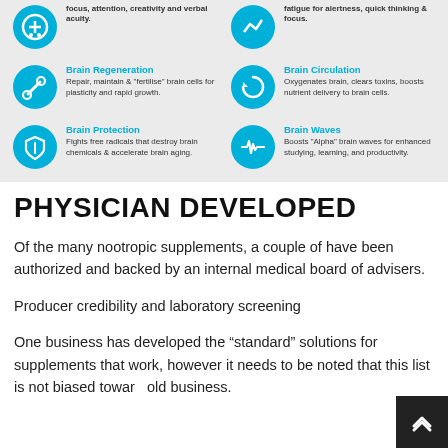[Figure (infographic): Infographic section showing brain health categories: Brain Regeneration (Repair, maintain & 'fertilise' brain cells for plasticity and rapid growth.), Brain Circulation (Oxygenates brain, clears toxins, boosts nutrient delivery to brain cells.), Brain Protection (Fights free radicals that destroy brain chemicals & accelerate brain aging.), Brain Waves (Boosts 'Alpha' brain waves for enhanced studying, learning, and productivity.)]
PHYSICIAN DEVELOPED
Of the many nootropic supplements, a couple of have been authorized and backed by an internal medical board of advisers.
Producer credibility and laboratory screening
One business has developed the “standard” solutions for supplements that work, however it needs to be noted that this list is not biased toward old business.